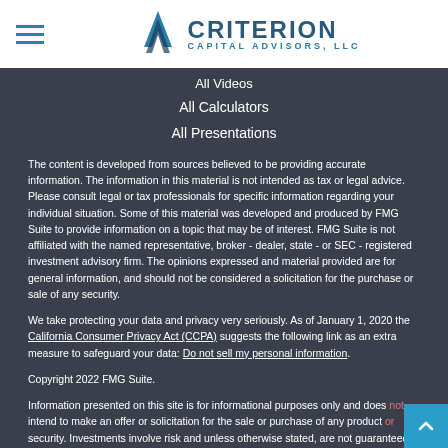Criterion Capital Advisors, LLC
All Videos
All Calculators
All Presentations
The content is developed from sources believed to be providing accurate information. The information in this material is not intended as tax or legal advice. Please consult legal or tax professionals for specific information regarding your individual situation. Some of this material was developed and produced by FMG Suite to provide information on a topic that may be of interest. FMG Suite is not affiliated with the named representative, broker - dealer, state - or SEC - registered investment advisory firm. The opinions expressed and material provided are for general information, and should not be considered a solicitation for the purchase or sale of any security.
We take protecting your data and privacy very seriously. As of January 1, 2020 the California Consumer Privacy Act (CCPA) suggests the following link as an extra measure to safeguard your data: Do not sell my personal information.
Copyright 2022 FMG Suite.
Information presented on this site is for informational purposes only and does not intend to make an offer or solicitation for the sale or purchase of any product or security. Investments involve risk and unless otherwise stated, are not guaranteed. Be sure to first consult with a qualified financial adviser and/or tax professional